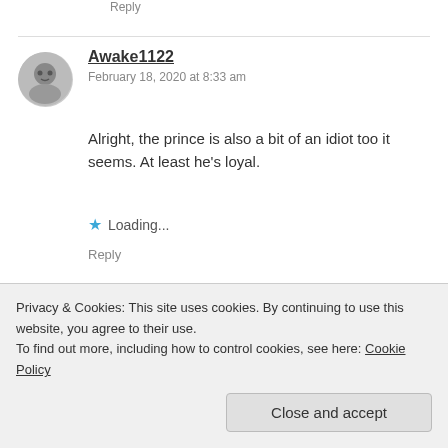Reply
Awake1122
February 18, 2020 at 8:33 am

Alright, the prince is also a bit of an idiot too it seems. At least he's loyal.

Loading...
Reply
Gabe
Privacy & Cookies: This site uses cookies. By continuing to use this website, you agree to their use.
To find out more, including how to control cookies, see here: Cookie Policy
Close and accept
useful……I need to expel all that excess energy from